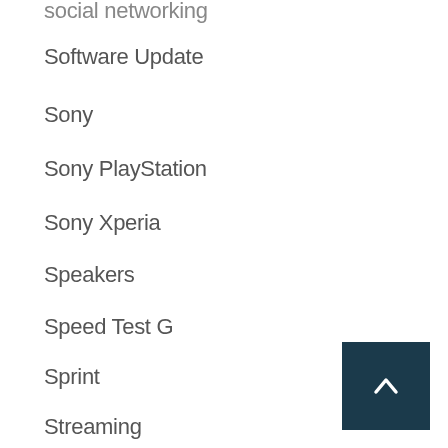social networking
Software Update
Sony
Sony PlayStation
Sony Xperia
Speakers
Speed Test G
Sprint
Streaming
Sunday Giveaway
Survey
T-Mobile
Tablets